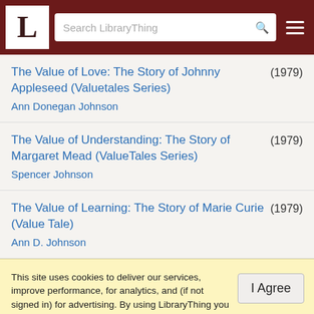[Figure (screenshot): LibraryThing website header with logo L, search bar, and hamburger menu]
The Value of Love: The Story of Johnny Appleseed (Valuetales Series) Ann Donegan Johnson (1979)
The Value of Understanding: The Story of Margaret Mead (ValueTales Series) Spencer Johnson (1979)
The Value of Learning: The Story of Marie Curie (Value Tale) Ann D. Johnson (1979)
This site uses cookies to deliver our services, improve performance, for analytics, and (if not signed in) for advertising. By using LibraryThing you acknowledge that you have read and understand our Terms of Service and Privacy Policy. Your use of the site and services is subject to these policies and terms.